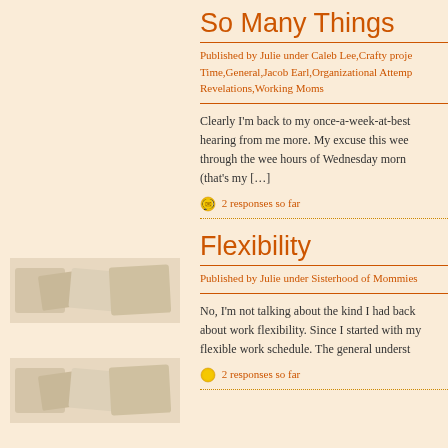So Many Things
Published by Julie under Caleb Lee,Crafty projects,Family Time,General,Jacob Earl,Organizational Attempts,Revelations,Working Moms
Clearly I'm back to my once-a-week-at-best posting. Sorry about not hearing from me more. My excuse this week is that I was up working through the wee hours of Wednesday morning on a work deadline (that's my […]
2 responses so far
Flexibility
Published by Julie under Sisterhood of Mommies
No, I'm not talking about the kind I had back in my 20′s. I'm talking about work flexibility. Since I started with my company, I have had a flexible work schedule. The general underst
2 responses so far